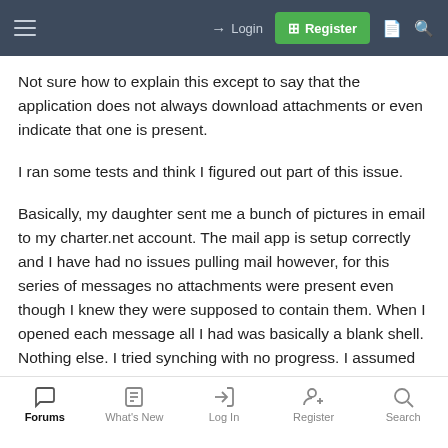Login | Register
Not sure how to explain this except to say that the application does not always download attachments or even indicate that one is present.
I ran some tests and think I figured out part of this issue.
Basically, my daughter sent me a bunch of pictures in email to my charter.net account. The mail app is setup correctly and I have had no issues pulling mail however, for this series of messages no attachments were present even though I knew they were supposed to contain them. When I opened each message all I had was basically a blank shell. Nothing else. I tried synching with no progress. I assumed that she forgot to attach the pictures so I replied to the message and a prompt came up asked if I wanted to include attachments from...
Forums | What's New | Log In | Register | Search